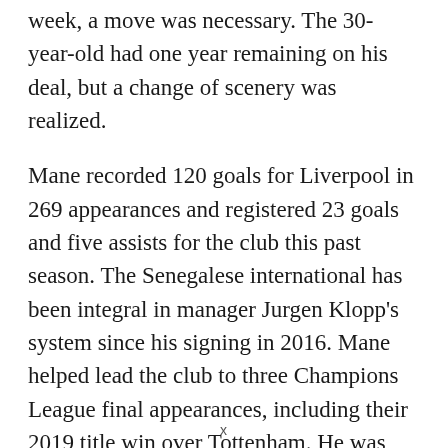week, a move was necessary. The 30-year-old had one year remaining on his deal, but a change of scenery was realized.
Mane recorded 120 goals for Liverpool in 269 appearances and registered 23 goals and five assists for the club this past season. The Senegalese international has been integral in manager Jurgen Klopp's system since his signing in 2016. Mane helped lead the club to three Champions League final appearances, including their 2019 title win over Tottenham. He was also key in helping the Reds' end their 30-year league title drought with their 2020
x